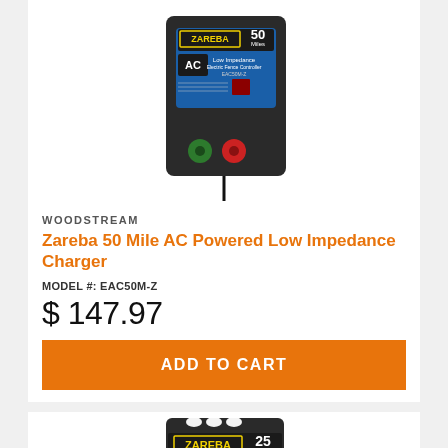[Figure (photo): Zareba 50 Mile AC Powered Low Impedance Charger product photo showing a black electric fence charger unit with blue label, green and red terminals]
WOODSTREAM
Zareba 50 Mile AC Powered Low Impedance Charger
MODEL #: EAC50M-Z
$ 147.97
ADD TO CART
[Figure (photo): Zareba 25 Mile electric fence charger product photo showing a black unit with Zareba logo and 25 Miles label, partially cropped at bottom of page]